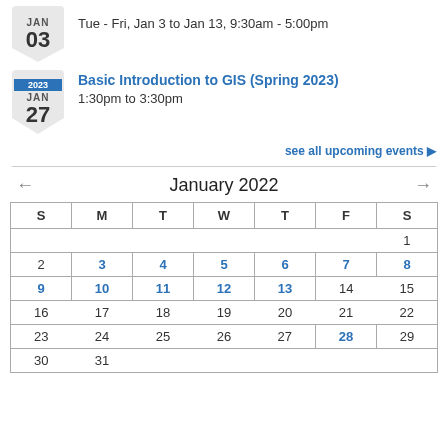Tue - Fri, Jan 3 to Jan 13, 9:30am - 5:00pm
Basic Introduction to GIS (Spring 2023)
1:30pm to 3:30pm
see all upcoming events ▶
January 2022
| S | M | T | W | T | F | S |
| --- | --- | --- | --- | --- | --- | --- |
|  |  |  |  |  |  | 1 |
| 2 | 3 | 4 | 5 | 6 | 7 | 8 |
| 9 | 10 | 11 | 12 | 13 | 14 | 15 |
| 16 | 17 | 18 | 19 | 20 | 21 | 22 |
| 23 | 24 | 25 | 26 | 27 | 28 | 29 |
| 30 | 31 |  |  |  |  |  |